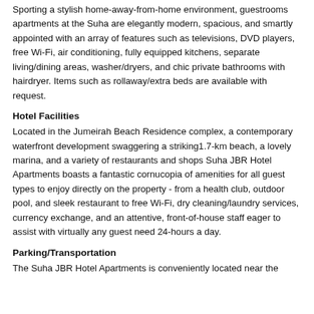Sporting a stylish home-away-from-home environment, guestrooms apartments at the Suha are elegantly modern, spacious, and smartly appointed with an array of features such as televisions, DVD players, free Wi-Fi, air conditioning, fully equipped kitchens, separate living/dining areas, washer/dryers, and chic private bathrooms with hairdryer. Items such as rollaway/extra beds are available with request.
Hotel Facilities
Located in the Jumeirah Beach Residence complex, a contemporary waterfront development swaggering a striking1.7-km beach, a lovely marina, and a variety of restaurants and shops Suha JBR Hotel Apartments boasts a fantastic cornucopia of amenities for all guest types to enjoy directly on the property - from a health club, outdoor pool, and sleek restaurant to free Wi-Fi, dry cleaning/laundry services, currency exchange, and an attentive, front-of-house staff eager to assist with virtually any guest need 24-hours a day.
Parking/Transportation
The Suha JBR Hotel Apartments is conveniently located near the